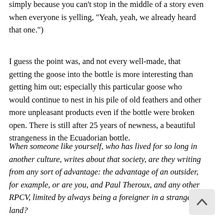simply because you can't stop in the middle of a story even when everyone is yelling, "Yeah, yeah, we already heard that one.")
I guess the point was, and not every well-made, that getting the goose into the bottle is more interesting than getting him out; especially this particular goose who would continue to nest in his pile of old feathers and other more unpleasant products even if the bottle were broken open. There is still after 25 years of newness, a beautiful strangeness in the Ecuadorian bottle.
When someone like yourself, who has lived for so long in another culture, writes about that society, are they writing from any sort of advantage: the advantage of an outsider, for example, or are you, and Paul Theroux, and any other RPCV, limited by always being a foreigner in a strange land?